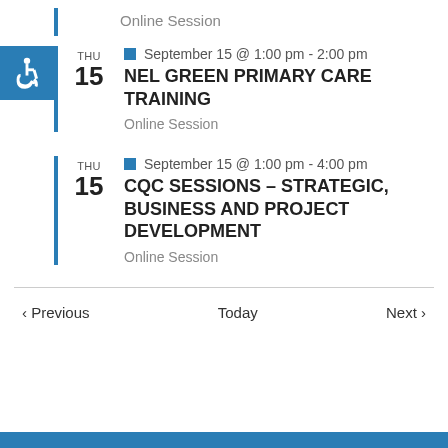Online Session
THU 15 — September 15 @ 1:00 pm - 2:00 pm — NEL GREEN PRIMARY CARE TRAINING — Online Session
THU 15 — September 15 @ 1:00 pm - 4:00 pm — CQC SESSIONS – STRATEGIC, BUSINESS AND PROJECT DEVELOPMENT — Online Session
< Previous   Today   Next >